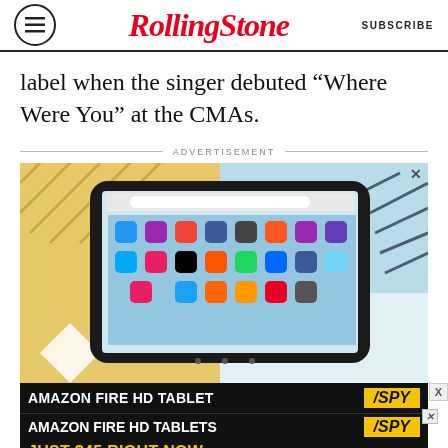Rolling Stone | SUBSCRIBE
label when the singer debuted “Where Were You” at the CMAs.
ADVERTISEMENT
[Figure (photo): Amazon Fire HD Tablet advertisement showing a tablet device with apps visible on screen, on a colorful background. Bottom banner reads: AMAZON FIRE HD TABLET / AMAZON FIRE HD TABLETS / JUST $45 RIGHT NOW with SPY logo.]